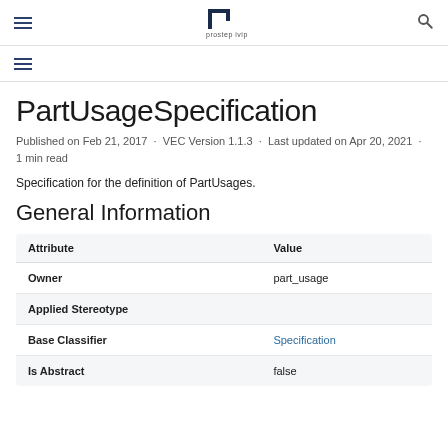prostep ivip (logo, hamburger menu, search icon)
PartUsageSpecification
Published on Feb 21, 2017  ·  VEC Version 1.1.3  ·  Last updated on Apr 20, 2021  ·  1 min read
Specification for the definition of PartUsages.
General Information
| Attribute | Value |
| --- | --- |
| Owner | part_usage |
| Applied Stereotype |  |
| Base Classifier | Specification |
| Is Abstract | false |